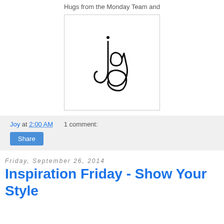Hugs from the Monday Team and
[Figure (illustration): Handwritten signature reading 'Joy' in black ink, with a loop under the letter, inside a white box with a light gray border.]
Joy at 2:00 AM    1 comment:
Share
Friday, September 26, 2014
Inspiration Friday - Show Your Style